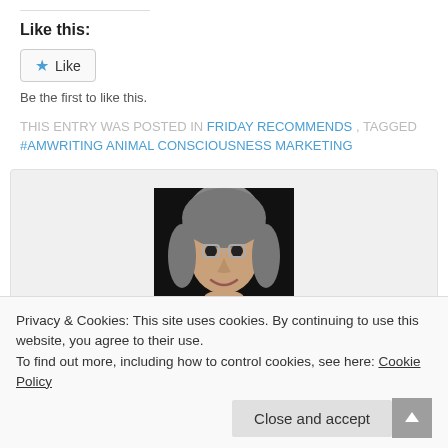Like this:
Like
Be the first to like this.
THIS ENTRY WAS POSTED IN FRIDAY RECOMMENDS , TAGGED #AMWRITING ANIMAL CONSCIOUSNESS MARKETING
[Figure (photo): Author photo of Marian Allen, a woman with gray hair and glasses, smiling]
About Marian Allen
I was born in Louisville, Kentucky, but now live in the woods in
Privacy & Cookies: This site uses cookies. By continuing to use this website, you agree to their use. To find out more, including how to control cookies, see here: Cookie Policy
Close and accept